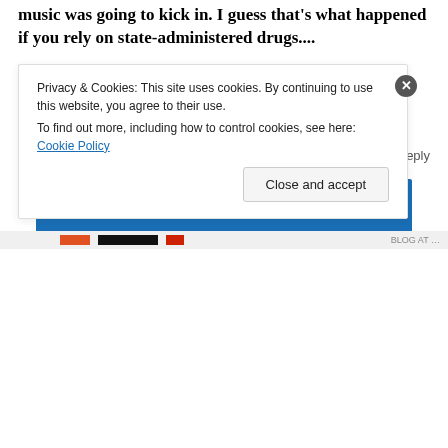music was going to kick in. I guess that's what happened if you rely on state-administered drugs....
Tomorrow I'm off to Son Espases hospital in Palma Mallorca to see the Spanish equivalent of an ear, nose and throat specialist. I really know how to have fun
22/10/2013
Leave a Reply
Older posts
Privacy & Cookies: This site uses cookies. By continuing to use this website, you agree to their use.
To find out more, including how to control cookies, see here: Cookie Policy
Close and accept